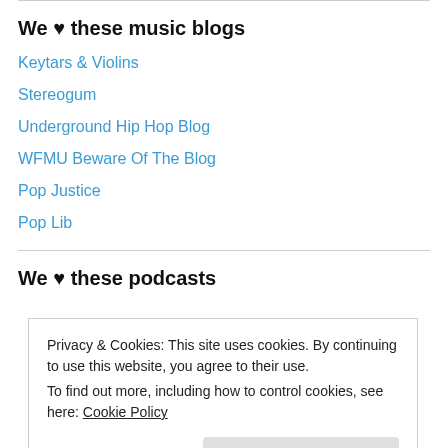We ♥ these music blogs
Keytars & Violins
Stereogum
Underground Hip Hop Blog
WFMU Beware Of The Blog
Pop Justice
Pop Lib
We ♥ these podcasts
Privacy & Cookies: This site uses cookies. By continuing to use this website, you agree to their use.
To find out more, including how to control cookies, see here: Cookie Policy
Close and accept